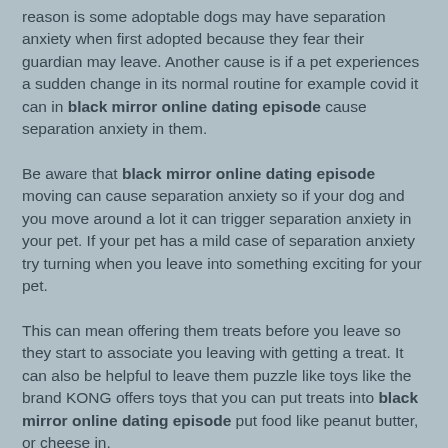reason is some adoptable dogs may have separation anxiety when first adopted because they fear their guardian may leave. Another cause is if a pet experiences a sudden change in its normal routine for example covid it can in black mirror online dating episode cause separation anxiety in them.
Be aware that black mirror online dating episode moving can cause separation anxiety so if your dog and you move around a lot it can trigger separation anxiety in your pet. If your pet has a mild case of separation anxiety try turning when you leave into something exciting for your pet.
This can mean offering them treats before you leave so they start to associate you leaving with getting a treat. It can also be helpful to leave them puzzle like toys like the brand KONG offers toys that you can put treats into black mirror online dating episode put food like peanut butter, or cheese in.